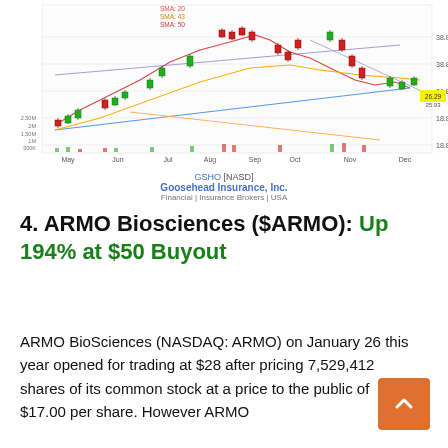[Figure (continuous-plot): Candlestick stock chart for Goosehead Insurance, Inc. (GSHO NASDAQ), showing price movement from May through December with SMA lines (red/orange/green), trendlines (blue, orange), volume bars at bottom, and a yellow price label near 26.29/25.93. Price range approximately 18-40 on right axis.]
GSHO [NASD]
Goosehead Insurance, Inc.
Financial | Insurance Brokers | USA
4. ARMO Biosciences ($ARMO): Up 194% at $50 Buyout
ARMO BioSciences (NASDAQ: ARMO) on January 26 this year opened for trading at $28 after pricing 7,529,412 shares of its common stock at a price to the public of $17.00 per share. However ARMO